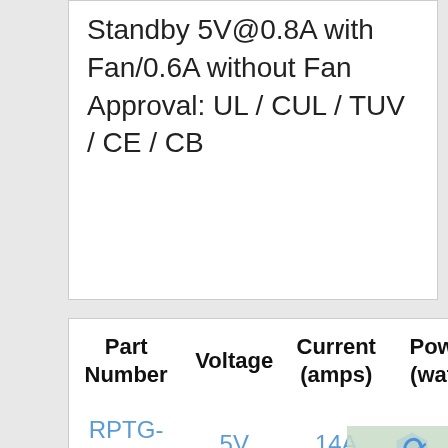Standby 5V@0.8A with Fan/0.6A without Fan Approval: UL / CUL / TUV / CE / CB
| Part Number | Voltage | Current (amps) | Power (watts) |
| --- | --- | --- | --- |
| RPTG-160-A | 5V | 14A |  |